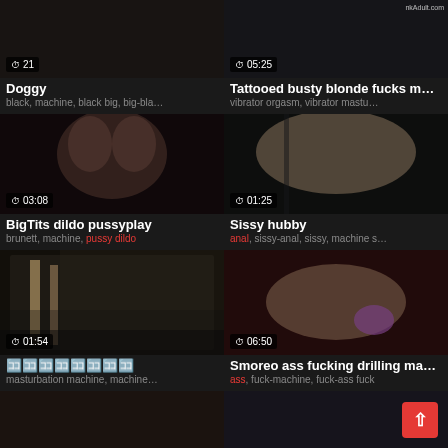[Figure (screenshot): Video thumbnail grid for adult content website showing 6 video cards in 2-column layout plus partial 7th row]
21 — Doggy
black, machine, black big, big-bla...
05:25 — Tattooed busty blonde fucks m…
vibrator orgasm, vibrator mastu...
03:08 — BigTits dildo pussyplay
brunett, machine, pussy dildo
01:25 — Sissy hubby
anal, sissy-anal, sissy, machine s...
01:54 — (Japanese characters)
masturbation machine, machine...
06:50 — Smoreo ass fucking drilling ma…
ass, fuck-machine, fuck-ass fuck